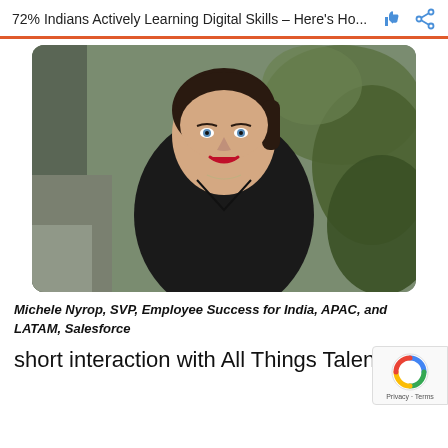72% Indians Actively Learning Digital Skills – Here's Ho...
[Figure (photo): Professional headshot of Michele Nyrop, a woman with dark hair pulled back, blue eyes, wearing a black v-neck top, smiling, with green foliage in the background.]
Michele Nyrop, SVP, Employee Success for India, APAC, and LATAM, Salesforce
short interaction with All Things Talent, Michele Nyrop, SVP, Employee Success for